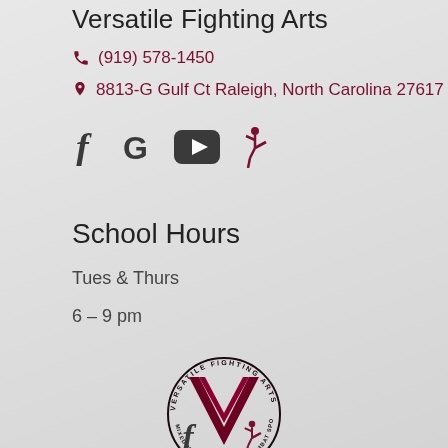Versatile Fighting Arts
(919) 578-1450
8813-G Gulf Ct Raleigh, North Carolina 27617
[Figure (infographic): Social media icons: Facebook (f), Google (G), YouTube (play button), and martial arts kick figure]
School Hours
Tues & Thurs
6 – 9 pm
[Figure (logo): Versatile Fighting Arts circular logo with large V shape in dark maroon and text around the circle reading VERSATILE FIGHTING ARTS]
[Figure (infographic): Partial footer social media icons at bottom]